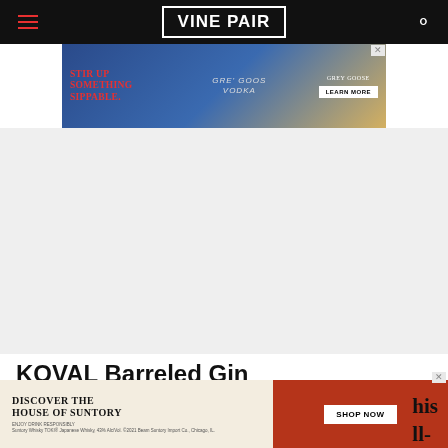VINEPAIR
[Figure (photo): Grey Goose vodka advertisement banner: 'STIR UP SOMETHING SIPPABLE.' with cocktail imagery and Grey Goose vodka bottle, LEARN MORE button]
[Figure (photo): Large gray/white empty advertisement placeholder area]
KOVAL Barreled Gin
[Figure (photo): Discover the House of Suntory advertisement with SHOP NOW button and whisky bottle imagery]
his ll-